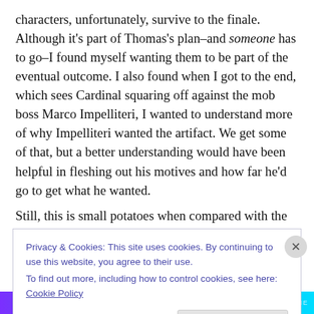characters, unfortunately, survive to the finale. Although it's part of Thomas's plan–and someone has to go–I found myself wanting them to be part of the eventual outcome. I also found when I got to the end, which sees Cardinal squaring off against the mob boss Marco Impelliteri, I wanted to understand more of why Impelliteri wanted the artifact. We get some of that, but a better understanding would have been helpful in fleshing out his motives and how far he'd go to get what he wanted.
Still, this is small potatoes when compared with the
Privacy & Cookies: This site uses cookies. By continuing to use this website, you agree to their use.
To find out more, including how to control cookies, see here: Cookie Policy
Close and accept